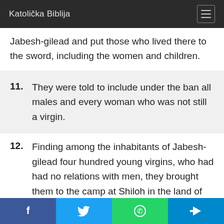Katolička Biblija
Jabesh-gilead and put those who lived there to the sword, including the women and children.
11. They were told to include under the ban all males and every woman who was not still a virgin.
12. Finding among the inhabitants of Jabesh-gilead four hundred young virgins, who had had no relations with men, they brought them to the camp at Shiloh in the land of Canaan.
Facebook Twitter WhatsApp Telegram